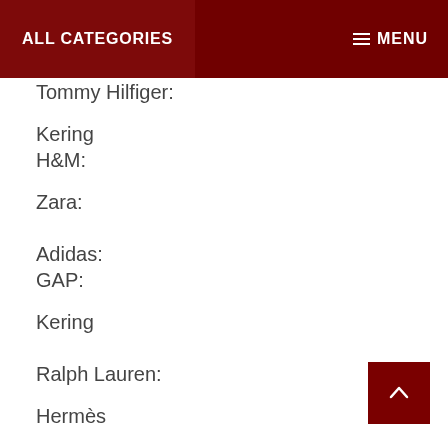ALL CATEGORIES    MENU
Tommy Hilfiger:
Kering
H&M:
Zara:
Adidas:
GAP:
Kering
Ralph Lauren:
Hermès